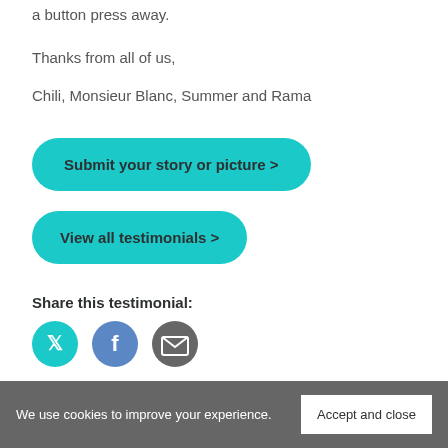a button press away.
Thanks from all of us,
Chili, Monsieur Blanc, Summer and Rama
Submit your story or picture  >
View all testimonials  >
Share this testimonial:
[Figure (illustration): Three social sharing icons: teal Twitter bird, blue Facebook f, grey envelope/email]
We use cookies to improve your experience.
Accept and close